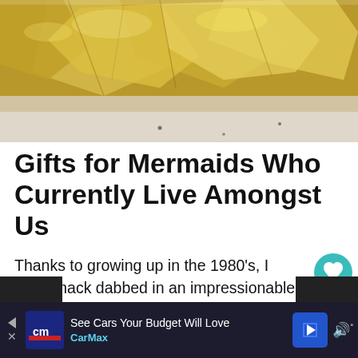[Figure (photo): Close-up photo of translucent golden/amber colored wrappers or packaging material on a light surface]
Gifts for Mermaids Who Currently Live Amongst Us
Thanks to growing up in the 1980’s, I was smack dabbed in an impressionable age during the movie, SPLASH. That was it. I was a mermaid. There was no other option, only the fierce determination to allow my fins to
[Figure (infographic): Social sharing UI: heart button (teal circle), count 85, share button]
[Figure (infographic): WHAT'S NEXT arrow card with thumbnail: Christmas Gifts for a...]
[Figure (screenshot): CarMax advertisement banner: See Cars Your Budget Will Love, CarMax logo and navigation arrow]